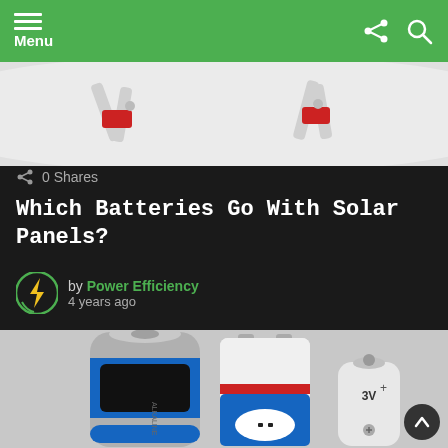Menu
[Figure (photo): Top strip showing pliers/wire cutters with red handles on white background]
0 Shares
Which Batteries Go With Solar Panels?
by Power Efficiency
4 years ago
[Figure (photo): Three batteries of different sizes on gray background: large D-cell alkaline battery with blue and black design, rectangular 9V battery with blue and red colors and white oval label, and small white cylindrical 3V battery]